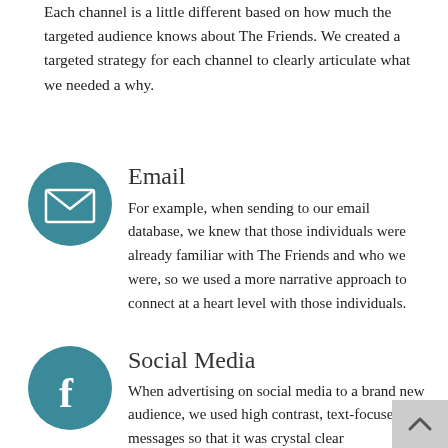Each channel is a little different based on how much the targeted audience knows about The Friends. We created a targeted strategy for each channel to clearly articulate what we needed a why.
[Figure (illustration): Teal circle icon with a white envelope/email symbol]
Email
For example, when sending to our email database, we knew that those individuals were already familiar with The Friends and who we were, so we used a more narrative approach to connect at a heart level with those individuals.
[Figure (illustration): Teal circle icon with a white Facebook 'f' symbol]
Social Media
When advertising on social media to a brand new audience, we used high contrast, text-focused messages so that it was crystal clear in an instant what we needed the most.